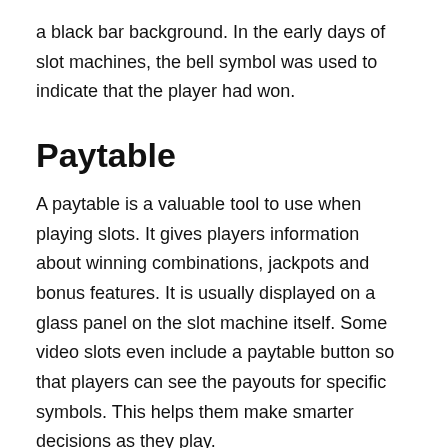a black bar background. In the early days of slot machines, the bell symbol was used to indicate that the player had won.
Paytable
A paytable is a valuable tool to use when playing slots. It gives players information about winning combinations, jackpots and bonus features. It is usually displayed on a glass panel on the slot machine itself. Some video slots even include a paytable button so that players can see the payouts for specific symbols. This helps them make smarter decisions as they play.